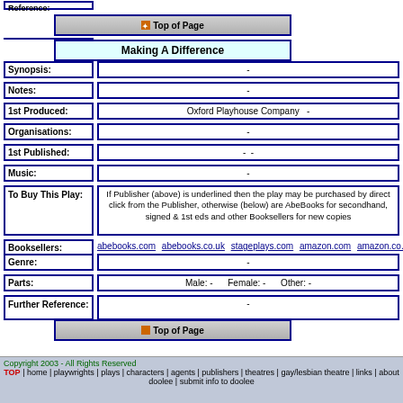Reference:
Top of Page
Making A Difference
| Field | Value |
| --- | --- |
| Synopsis: | - |
| Notes: | - |
| 1st Produced: | Oxford Playhouse Company  - |
| Organisations: | - |
| 1st Published: | - - |
| Music: | - |
| To Buy This Play: | If Publisher (above) is underlined then the play may be purchased by direct click from the Publisher, otherwise (below) are AbeBooks for secondhand, signed & 1st eds and other Booksellers for new copies |
| Booksellers: | abebooks.com  abebooks.co.uk  stageplays.com  amazon.com  amazon.co.uk  am |
| Genre: | - |
| Parts: | Male: -   Female: -   Other: - |
| Further Reference: | - |
Top of Page
Copyright 2003 - All Rights Reserved
TOP | home | playwrights | plays | characters | agents | publishers | theatres | gay/lesbian theatre | links | about doolee | submit info to doolee